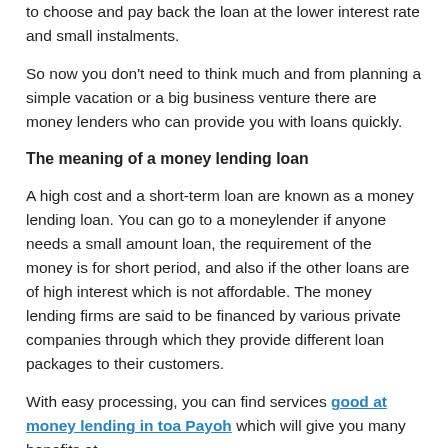to choose and pay back the loan at the lower interest rate and small instalments.
So now you don't need to think much and from planning a simple vacation or a big business venture there are money lenders who can provide you with loans quickly.
The meaning of a money lending loan
A high cost and a short-term loan are known as a money lending loan. You can go to a moneylender if anyone needs a small amount loan, the requirement of the money is for short period, and also if the other loans are of high interest which is not affordable. The money lending firms are said to be financed by various private companies through which they provide different loan packages to their customers.
With easy processing, you can find services good at money lending in toa Payoh which will give you many benefits at